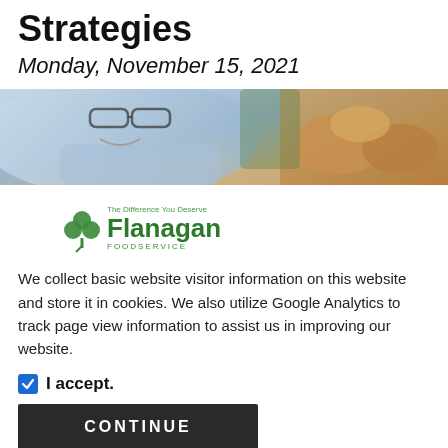Strategies
Monday, November 15, 2021
[Figure (photo): A man smiling, wearing glasses, with bread in the background — a food service promotional banner image.]
[Figure (logo): Flanagan Foodservice logo — The Difference You Deserve]
We collect basic website visitor information on this website and store it in cookies. We also utilize Google Analytics to track page view information to assist us in improving our website.
I accept.
CONTINUE